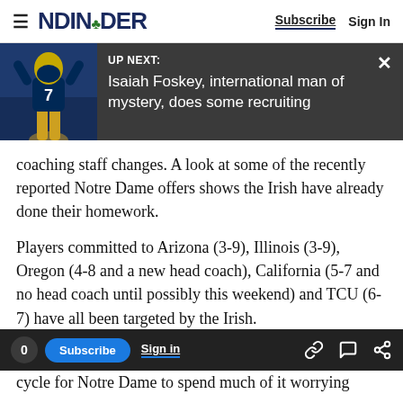NDINSiDER — Subscribe  Sign In
[Figure (screenshot): UP NEXT banner with Notre Dame football player wearing jersey #7, dark background. Title: 'Isaiah Foskey, international man of mystery, does some recruiting']
coaching staff changes. A look at some of the recently reported Notre Dame offers shows the Irish have already done their homework.
Players committed to Arizona (3-9), Illinois (3-9), Oregon (4-8 and a new head coach), California (5-7 and no head coach until possibly this weekend) and TCU (6-7) have all been targeted by the Irish.
5. Keep commitments together.
cycle for Notre Dame to spend much of it worrying